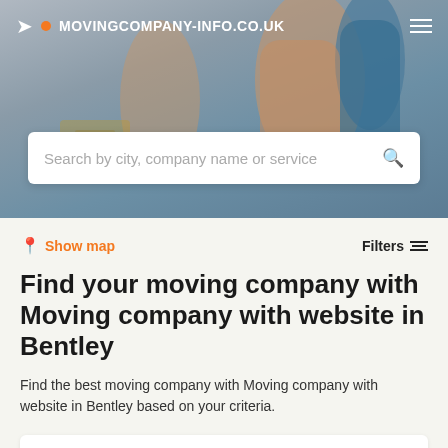MOVINGCOMPANY-INFO.CO.UK
Search by city, company name or service
Show map
Filters
Find your moving company with Moving company with website in Bentley
Find the best moving company with Moving company with website in Bentley based on your criteria.
Add your company   It's free →